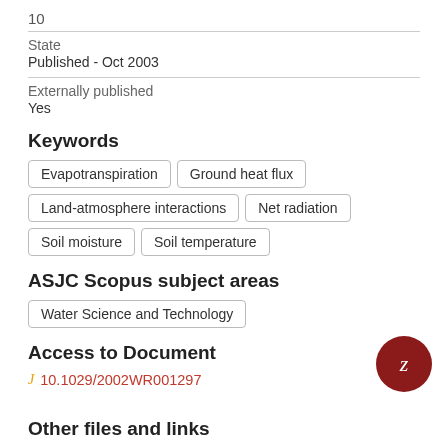10
State
Published - Oct 2003
Externally published
Yes
Keywords
Evapotranspiration
Ground heat flux
Land-atmosphere interactions
Net radiation
Soil moisture
Soil temperature
ASJC Scopus subject areas
Water Science and Technology
Access to Document
10.1029/2002WR001297
Other files and links